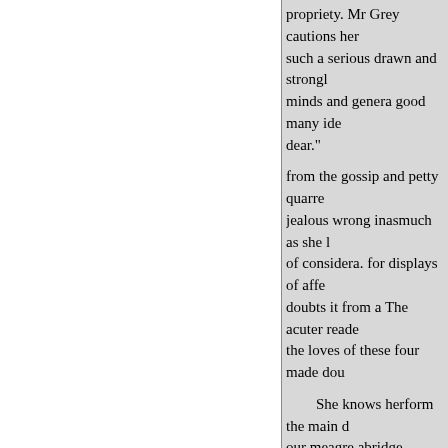propriety. Mr Grey cautions her such a serious drawn and strongly minds and genera good many idea dear."

from the gossip and petty quarrels jealous wrong inasmuch as she le of considera. for displays of affe doubts it from a The acuter reade the loves of these four made dou

    She knows herform the main d our meagre abridge- thoughts; bu unworthiness, and still more ly a of Deerbrook. The gossiping fait feeling, which she has never real

a

in herself, she fears every transie interval to suspect that Deerbro united that we have an infringem compels her to make. The truth i life among us, and there is not o not some